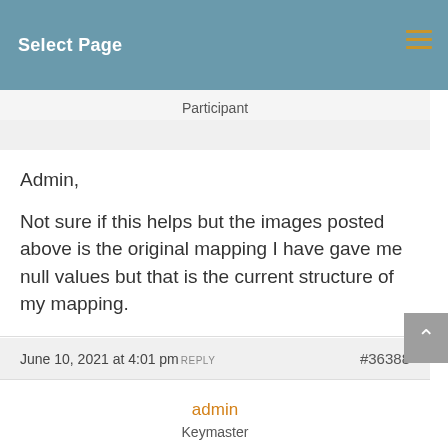Select Page
Participant
Admin,

Not sure if this helps but the images posted above is the original mapping I have gave me null values but that is the current structure of my mapping.
June 10, 2021 at 4:01 pm REPLY #36388
admin
Keymaster